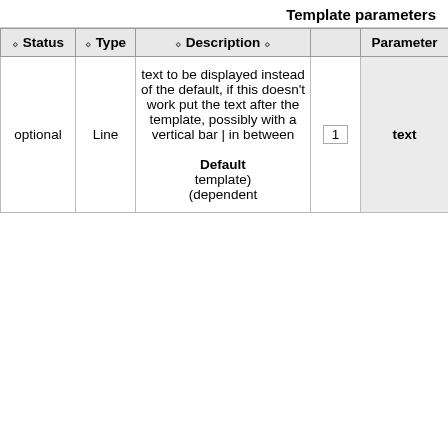Template parameters
| Status | Type | Description |  | Parameter |
| --- | --- | --- | --- | --- |
| optional | Line | text to be displayed instead of the default, if this doesn't work put the text after the template, possibly with a vertical bar | in between

Default
template)
(dependent | 1 | text |